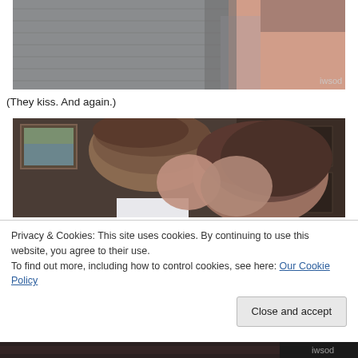[Figure (screenshot): Close-up screenshot of two people in an embrace, showing a grey tweed jacket and a person in a pink/peach top. Watermark 'iwsod' in lower right corner.]
(They kiss. And again.)
[Figure (screenshot): Screenshot of a man and woman facing each other closely, appearing to be about to kiss. Indoor setting with painting on wall in background.]
Privacy & Cookies: This site uses cookies. By continuing to use this website, you agree to their use.
To find out more, including how to control cookies, see here: Our Cookie Policy
[Figure (screenshot): Partial bottom strip of another screenshot, dark/black bar with 'iwsod' watermark.]